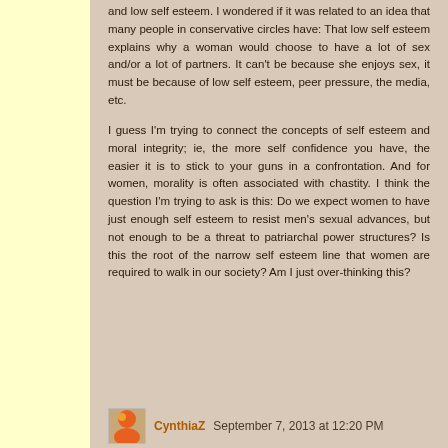and low self esteem. I wondered if it was related to an idea that many people in conservative circles have: That low self esteem explains why a woman would choose to have a lot of sex and/or a lot of partners. It can't be because she enjoys sex, it must be because of low self esteem, peer pressure, the media, etc.
I guess I'm trying to connect the concepts of self esteem and moral integrity; ie, the more self confidence you have, the easier it is to stick to your guns in a confrontation. And for women, morality is often associated with chastity. I think the question I'm trying to ask is this: Do we expect women to have just enough self esteem to resist men's sexual advances, but not enough to be a threat to patriarchal power structures? Is this the root of the narrow self esteem line that women are required to walk in our society? Am I just over-thinking this?
CynthiaZ  September 7, 2013 at 12:20 PM